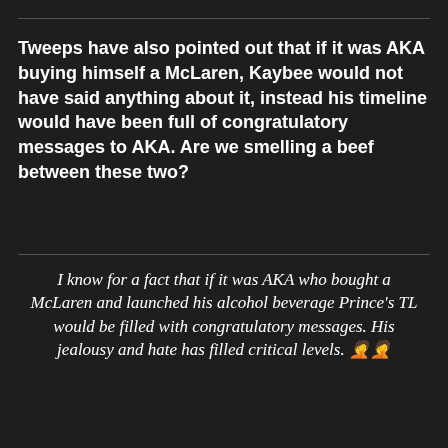Tweeps have also pointed out that if it was AKA buying himself a McLaren, Kaybee would not have said anything about it, instead his timeline would have been full of congratulatory messages to AKA. Are we smelling a beef between these two?
I know for a fact that if it was AKA who bought a McLaren and launched his alcohol beverage Prince's TL would be filled with congratulatory messages. His jealousy and hate has filled critical levels. 🤦🤦